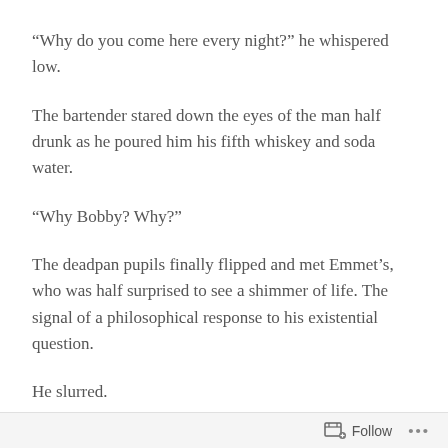“Why do you come here every night?” he whispered low.
The bartender stared down the eyes of the man half drunk as he poured him his fifth whiskey and soda water.
“Why Bobby? Why?”
The deadpan pupils finally flipped and met Emmet’s, who was half surprised to see a shimmer of life. The signal of a philosophical response to his existential question.
He slurred.
“What? What did you say?” Emmet said.
Follow ...